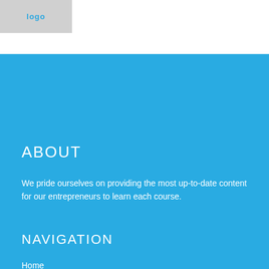[Figure (logo): Logo placeholder box with blue text in top-left corner]
ABOUT
We pride ourselves on providing the most up-to-date content for our entrepreneurs to learn each course.
NAVIGATION
Home
About us
Contact Us